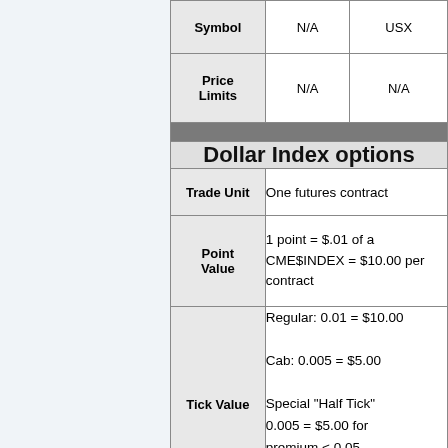|  | N/A | USX |
| --- | --- | --- |
| Symbol | N/A | USX |
| Price Limits | N/A | N/A |
| Dollar Index options |  |  |
| Trade Unit | One futures contract |  |
| Point Value | 1 point = $.01 of a CME$INDEX = $10.00 per contract |  |
| Tick Value | Regular: 0.01 = $10.00
Cab: 0.005 = $5.00
Special "Half Tick" 0.005 = $5.00 for premium < 0.05, spreads w/net premium < 0.05... |  |